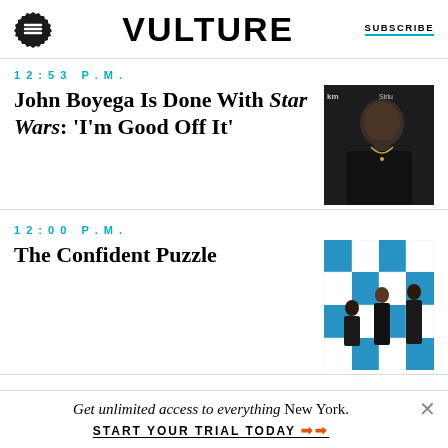VULTURE | SUBSCRIBE
12:53 P.M.
John Boyega Is Done With Star Wars: 'I'm Good Off It'
[Figure (photo): Photo of John Boyega at a SiriusXM event, wearing a black outfit and necklace against dark background with radio station branding]
12:00 P.M.
The Confident Puzzle
[Figure (photo): Crossword puzzle themed image with blue and white grid squares and figures of people in black and white]
11:41 A.M.
[Figure (photo): Partial thumbnail showing an animal or fur texture]
Get unlimited access to everything New York.
START YOUR TRIAL TODAY